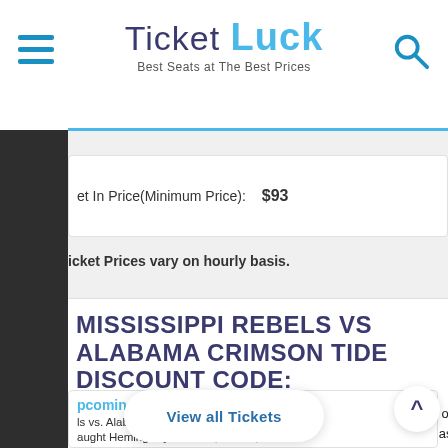Ticket Luck — Best Seats at The Best Prices
| Ticket In Price(Minimum Price): | $93 |
| --- | --- |
Ticket Prices vary on hourly basis.
MISSISSIPPI REBELS VS ALABAMA CRIMSON TIDE DISCOUNT CODE:
Use Event18 as the discount code and get up to 70% discount on Mississippi Rebels Vs Alabama Crimson Tide tickets. This is a last minute opportunity to get the discounted tickets for Mississippi Rebels Vs Alabama Crimson Tide.
Upcoming Events — Mississippi Rebels vs. Alabama ... Vaught Hemingway Stadium, Oxford, MS